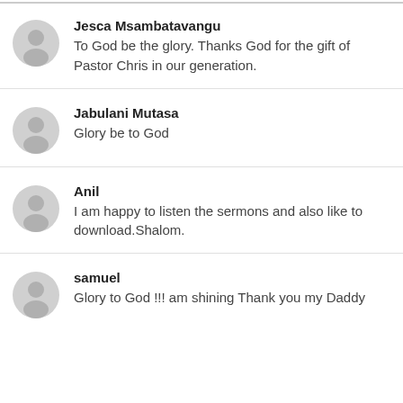Jesca Msambatavangu
To God be the glory. Thanks God for the gift of Pastor Chris in our generation.
Jabulani Mutasa
Glory be to God
Anil
I am happy to listen the sermons and also like to download.Shalom.
samuel
Glory to God !!! am shining Thank you my Daddy